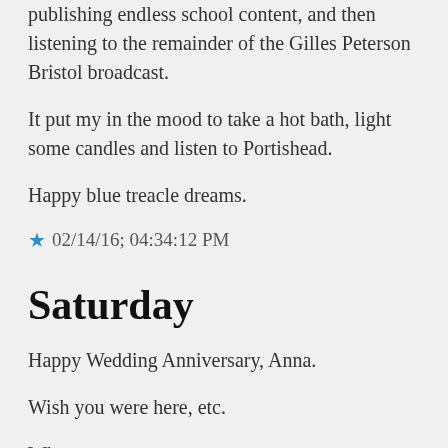publishing endless school content, and then listening to the remainder of the Gilles Peterson Bristol broadcast.
It put my in the mood to take a hot bath, light some candles and listen to Portishead.
Happy blue treacle dreams.
★ 02/14/16; 04:34:12 PM
Saturday
Happy Wedding Anniversary, Anna.
Wish you were here, etc.
Whoops